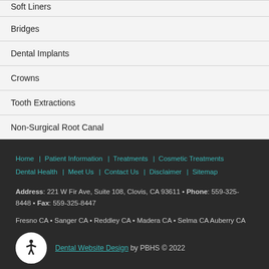Soft Liners
Bridges
Dental Implants
Crowns
Tooth Extractions
Non-Surgical Root Canal
Home | Patient Information | Treatments | Cosmetic Treatments | Dental Health | Meet Us | Contact Us | Disclaimer | Sitemap
Address: 221 W Fir Ave, Suite 108, Clovis, CA 93611 • Phone: 559-325-8448 • Fax: 559-325-8447
Fresno CA • Sanger CA • Reddley CA • Madera CA • Selma CA Auberry CA
Dental Website Design by PBHS © 2022